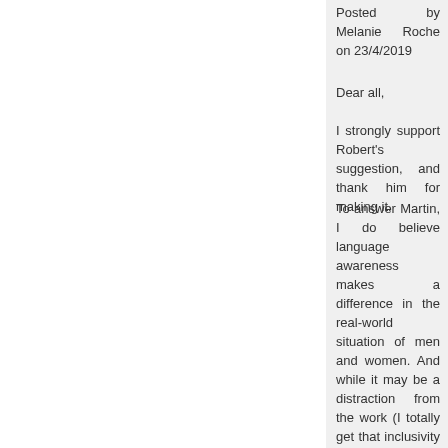Posted by Melanie Roche on 23/4/2019
Dear all,
I strongly support Robert's suggestion, and thank him for making it.
To answer Martin, I do believe language awareness makes a difference in the real-world situation of men and women. And while it may be a distraction from the work (I totally get that inclusivity is not the point of the model), and appear as a politically correct and fashionable trend, it also reflects on how other communities perceive us. Lately I have heard a lot of discussion on how to expand the CIDOC-CRM community, and especially how to extend it to younger people. Making the model more inclusive would be, in my opinion, a good first step in that